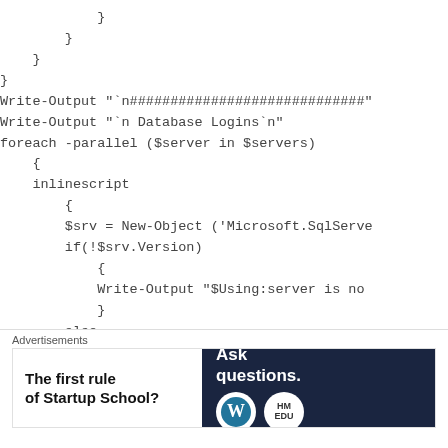}
        }
    }
}
Write-Output "`n#############################"
Write-Output "`n Database Logins`n"
foreach -parallel ($server in $servers)
    {
    inlinescript
        {
        $srv = New-Object ('Microsoft.SqlServe
        if(!$srv.Version)
            {
            Write-Output "$Using:server is no
            }
        else
            {
[Figure (other): Close/dismiss button (circle with X)]
Advertisements
[Figure (other): Advertisement banner: left side white with text 'The first rule of Startup School?', right side dark blue with 'Ask questions.' and WordPress and HM logos]